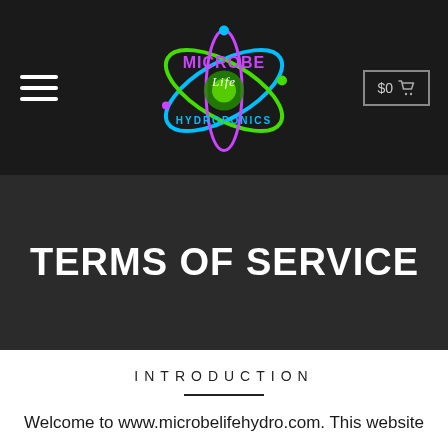Microbe Life Hydroponics — $0 cart
[Figure (logo): Microbe Life Hydroponics logo with colorful atom/molecule design and stylized text in purple, green, and blue]
TERMS OF SERVICE
INTRODUCTION
Welcome to www.microbelifehydro.com. This website